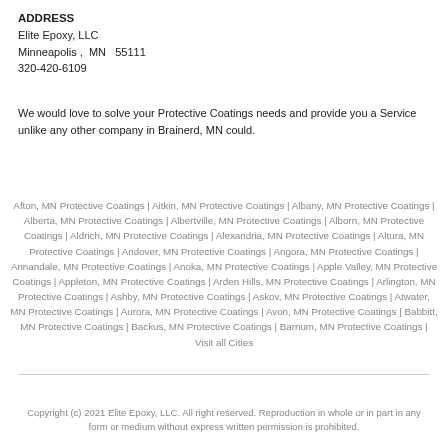ADDRESS
Elite Epoxy, LLC
Minneapolis ,  MN   55111
320-420-6109
We would love to solve your Protective Coatings needs and provide you a Service unlike any other company in Brainerd, MN could.
Afton, MN Protective Coatings | Aitkin, MN Protective Coatings | Albany, MN Protective Coatings | Alberta, MN Protective Coatings | Albertville, MN Protective Coatings | Alborn, MN Protective Coatings | Aldrich, MN Protective Coatings | Alexandria, MN Protective Coatings | Altura, MN Protective Coatings | Andover, MN Protective Coatings | Angora, MN Protective Coatings | Annandale, MN Protective Coatings | Anoka, MN Protective Coatings | Apple Valley, MN Protective Coatings | Appleton, MN Protective Coatings | Arden Hills, MN Protective Coatings | Arlington, MN Protective Coatings | Ashby, MN Protective Coatings | Askov, MN Protective Coatings | Atwater, MN Protective Coatings | Aurora, MN Protective Coatings | Avon, MN Protective Coatings | Babbitt, MN Protective Coatings | Backus, MN Protective Coatings | Barnum, MN Protective Coatings | Visit all Cities
Copyright (c) 2021 Elite Epoxy, LLC. All right reserved. Reproduction in whole or in part in any form or medium without express written permission is prohibited.